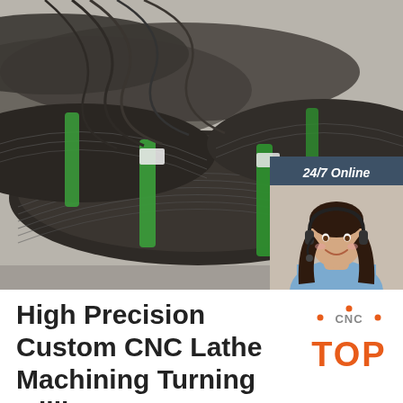[Figure (photo): Large photo of black steel wire rod coils bundled with green plastic straps, stacked in a warehouse or factory setting. Overlaid in top-right corner is a dark blue chat widget with '24/7 Online' header, a female customer service representative wearing a headset, italic text 'Click here for free chat!', and an orange 'QUOTATION' button.]
High Precision Custom CNC Lathe Machining Turning Milling ...